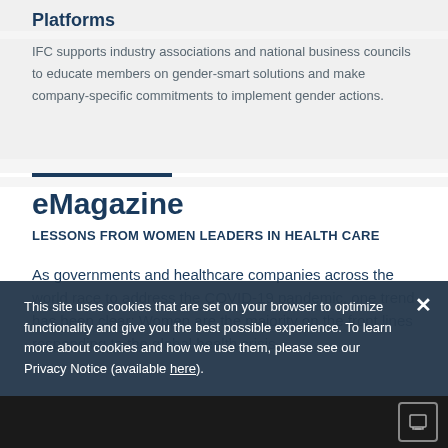Platforms
IFC supports industry associations and national business councils to educate members on gender-smart solutions and make company-specific commitments to implement gender actions.
eMagazine
LESSONS FROM WOMEN LEADERS IN HEALTH CARE
As governments and healthcare companies across the world race to address the COVID-19 pandemic, one trend has been clear: Women are the majority on the front lines responding to the global health crisis.
This site uses cookies that are set on your browser to optimize functionality and give you the best possible experience. To learn more about cookies and how we use them, please see our Privacy Notice (available here).